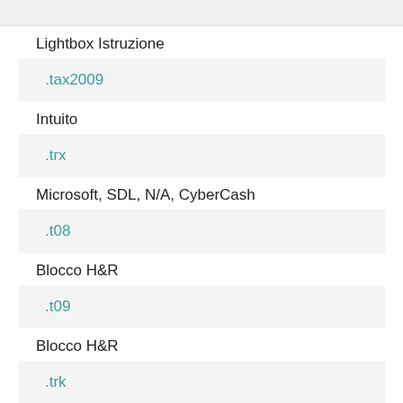Lightbox Istruzione
.tax2009
Intuito
.trx
Microsoft, SDL, N/A, CyberCash
.t08
Blocco H&R
.t09
Blocco H&R
.trk
CompoCPS, TEAM, MakeMusic, Garmin, Ubisoft